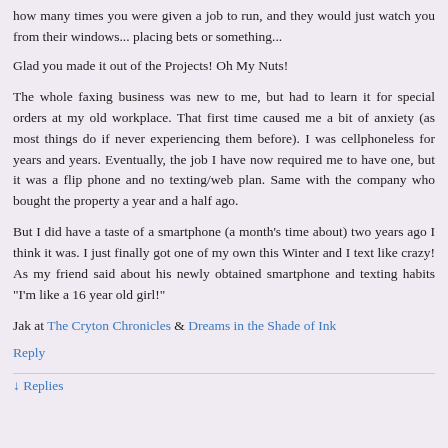how many times you were given a job to run, and they would just watch you from their windows... placing bets or something...
Glad you made it out of the Projects! Oh My Nuts!
The whole faxing business was new to me, but had to learn it for special orders at my old workplace. That first time caused me a bit of anxiety (as most things do if never experiencing them before). I was cellphoneless for years and years. Eventually, the job I have now required me to have one, but it was a flip phone and no texting/web plan. Same with the company who bought the property a year and a half ago.
But I did have a taste of a smartphone (a month's time about) two years ago I think it was. I just finally got one of my own this Winter and I text like crazy! As my friend said about his newly obtained smartphone and texting habits "I'm like a 16 year old girl!"
Jak at The Cryton Chronicles & Dreams in the Shade of Ink
Reply
↓ Replies